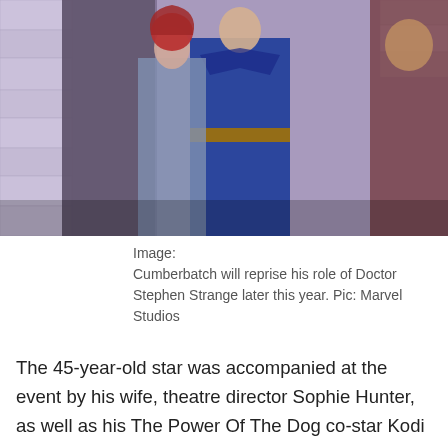[Figure (photo): Photo showing actors in costume, including a woman with red hair and a man in a blue costume reminiscent of Doctor Strange, with purple-tinted background and stone architecture.]
Image:
Cumberbatch will reprise his role of Doctor Stephen Strange later this year. Pic: Marvel Studios
The 45-year-old star was accompanied at the event by his wife, theatre director Sophie Hunter, as well as his The Power Of The Dog co-star Kodi Smit-McPhee, Star Trek into Darkness director J.J. Abrams, and Marvel Studios president Kevin Feige.
Cumberbatch is among the favourites to take the best leading actor gong at both this year's BAFTAs and